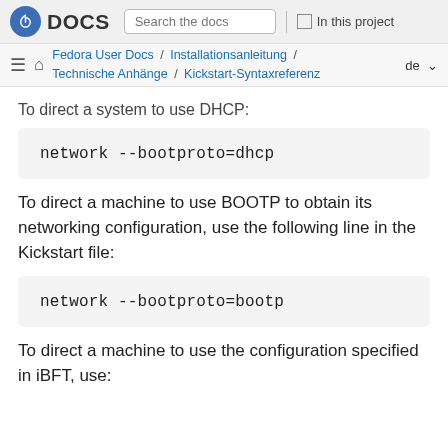DOCS | Search the docs | In this project
Fedora User Docs / Installationsanleitung / Technische Anhänge / Kickstart-Syntaxreferenz | de
To direct a system to use DHCP:
network --bootproto=dhcp
To direct a machine to use BOOTP to obtain its networking configuration, use the following line in the Kickstart file:
network --bootproto=bootp
To direct a machine to use the configuration specified in iBFT, use: